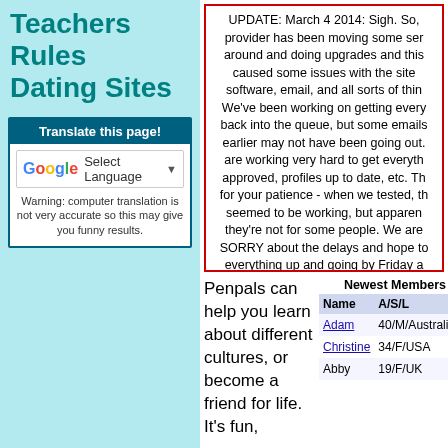Teachers Rules Dating Sites
Translate this page!
Warning: computer translation is not very accurate so this may give you funny results.
UPDATE: March 4 2014: Sigh. So, provider has been moving some servers around and doing upgrades and this caused some issues with the site software, email, and all sorts of things. We've been working on getting everything back into the queue, but some emails earlier may not have been going out. We are working very hard to get everything approved, profiles up to date, etc. Thanks for your patience - when we tested, things seemed to be working, but apparently they're not for some people. We are SO SORRY about the delays and hope to have everything up and going by Friday at the latest.
Penpals can help you learn about different cultures, or become a friend for life. It's fun,
| Name | A/S/L |
| --- | --- |
| Adam | 40/M/Australia |
| Christine | 34/F/USA |
| Abby | 19/F/UK |